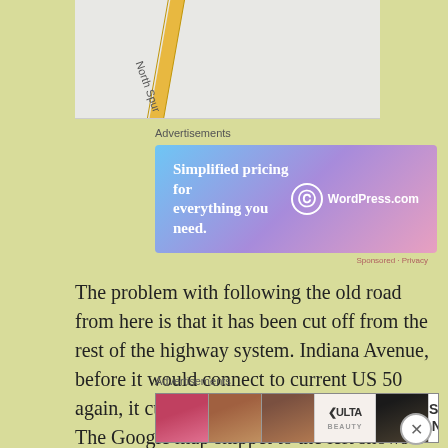[Figure (map): Map snippet showing North Spur road with a diagonal road marking]
Advertisements
[Figure (screenshot): WordPress.com advertisement: Simplified pricing for everything you need.]
The problem with following the old road from here is that it has been cut off from the rest of the highway system. Indiana Avenue, before it would connect to current US 50 again, it curves east away from its old path. The Google map snippet to the left shows a blue line where the old road crossed the area that is now US
Advertisements
[Figure (screenshot): ULTA beauty advertisement with SHOP NOW call to action]